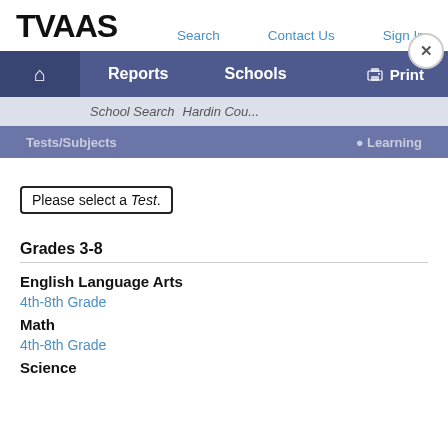TVAAS
Search   Contact Us   Sign In
Reports   Schools   Print
School Search   Hardin Cou...
Tests/Subjects   Learning
Please select a Test.
Grades 3-8
English Language Arts
4th-8th Grade
Math
4th-8th Grade
Science